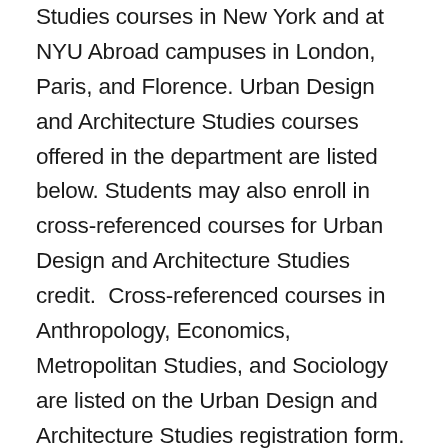Studies courses in New York and at NYU Abroad campuses in London, Paris, and Florence. Urban Design and Architecture Studies courses offered in the department are listed below. Students may also enroll in cross-referenced courses for Urban Design and Architecture Studies credit.  Cross-referenced courses in Anthropology, Economics, Metropolitan Studies, and Sociology are listed on the Urban Design and Architecture Studies registration form.  Please note that Urban Design and Architecture Studies students are exempt from the MAP-Expressive Cultures requirement, but may take the MAP course “Expressive Cultures:  Images, New York Field Study” for Urban Design and Architecture Studies credit.